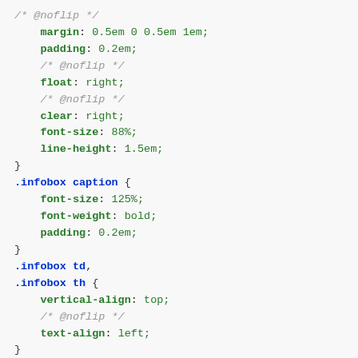CSS code block showing .infobox caption and .infobox td, .infobox th rules with properties: margin, padding, float, clear, font-size, line-height, font-size, font-weight, padding, vertical-align, text-align